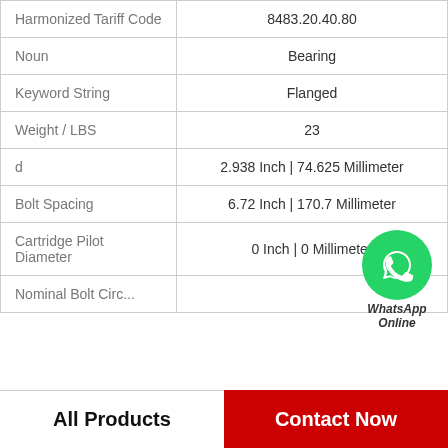| Property | Value |
| --- | --- |
| Harmonized Tariff Code | 8483.20.40.80 |
| Noun | Bearing |
| Keyword String | Flanged |
| Weight / LBS | 23 |
| d | 2.938 Inch | 74.625 Millimeter |
| Bolt Spacing | 6.72 Inch | 170.7 Millimeter |
| Cartridge Pilot Diameter | 0 Inch | 0 Millimeter |
| Nominal Bolt Circ... |  |
[Figure (logo): WhatsApp green circle icon with phone handset, labeled WhatsApp Online]
All Products    Contact Now